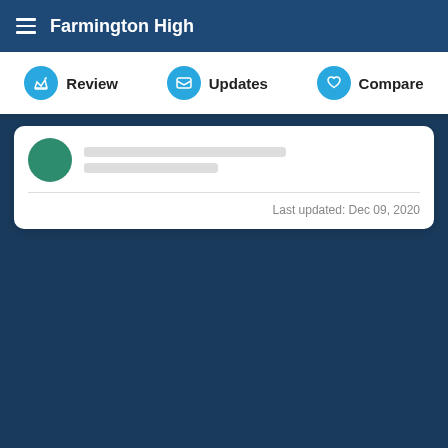Farmington High
Review | Updates | Compare
Last updated: Dec 09, 2020